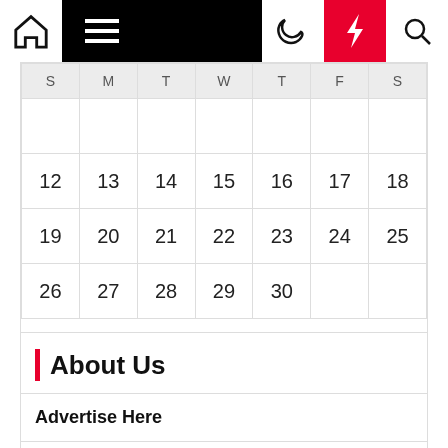Navigation bar with home, menu, moon, bolt, and search icons
| S | M | T | W | T | F | S |
| --- | --- | --- | --- | --- | --- | --- |
|  |  |  |  |  |  |  |
| 12 | 13 | 14 | 15 | 16 | 17 | 18 |
| 19 | 20 | 21 | 22 | 23 | 24 | 25 |
| 26 | 27 | 28 | 29 | 30 |  |  |
« Aug
About Us
Advertise Here
Contact Us
Privacy Policy